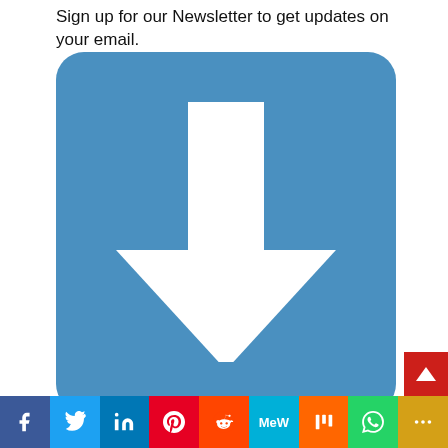Sign up for our Newsletter to get updates on your email.
[Figure (illustration): Blue rounded square button with a white downward arrow (download/save icon) in the center]
[Figure (infographic): Social media share bar at bottom with icons: Facebook (blue), Twitter (light blue), LinkedIn (dark blue), Pinterest (red), Reddit (orange-red), MeWe (cyan), Mix (orange), WhatsApp (green), More (gold/yellow). Above bar on right: red back-to-top button with chevron.]